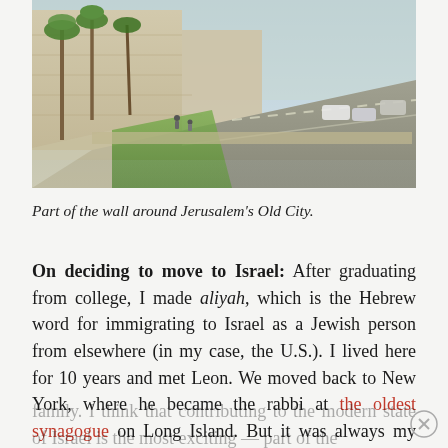[Figure (photo): Aerial view of the road alongside the ancient stone wall surrounding Jerusalem's Old City, with palm trees, pedestrians, and cars visible]
Part of the wall around Jerusalem's Old City.
On deciding to move to Israel: After graduating from college, I made aliyah, which is the Hebrew word for immigrating to Israel as a Jewish person from elsewhere (in my case, the U.S.). I lived here for 10 years and met Leon. We moved back to New York, where he became the rabbi at the oldest synagogue on Long Island. But it was always my dream to return here to raise our
family. I think that contributing to the modern state of Israel is the most exciting — part of the